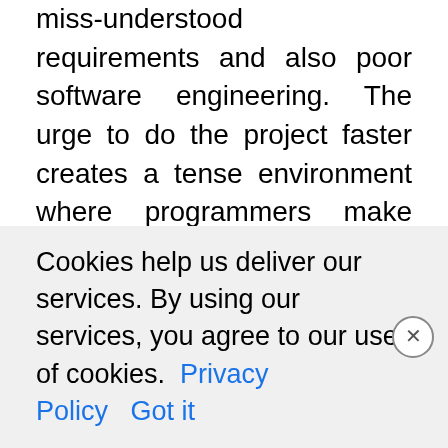miss-understood requirements and also poor software engineering. The urge to do the project faster creates a tense environment where programmers make more and more design and programming errors. The more a team tries to do the project faster, the more the delays as the errors keep on accumulating. The team gets into a vicious circle of poor software quality and project delays, from where, as time progresses, it becomes more and more difficult to come out.
Cookies help us deliver our services. By using our services, you agree to our use of cookies. Privacy Policy  Got it
THE CASE FOR A RELAXED INITIAL FRO...